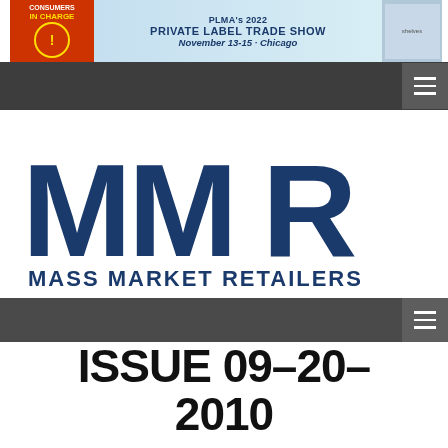[Figure (illustration): PLMA's 2022 Private Label Trade Show banner advertisement. Left side red box with 'Consumers in Charge' text. Right side shows 'PLMA's 2022 PRIVATE LABEL TRADE SHOW November 13-15 · Chicago']
[Figure (logo): MMR Mass Market Retailers logo in dark navy blue, large block letters]
ISSUE 09-20-2010
Changes at Walmart
September 14, 2010 by MMR · Issue 09-20-2010